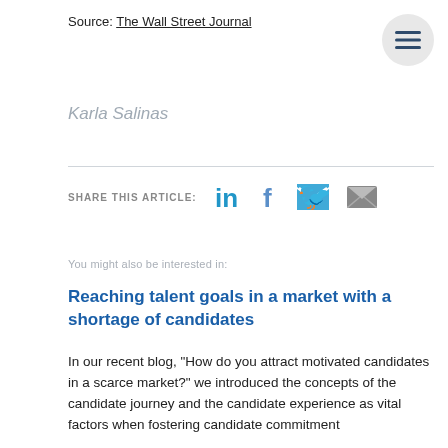Source: The Wall Street Journal
Karla Salinas
SHARE THIS ARTICLE:
You might also be interested in:
Reaching talent goals in a market with a shortage of candidates
In our recent blog, “How do you attract motivated candidates in a scarce market?” we introduced the concepts of the candidate journey and the candidate experience as vital factors when fostering candidate commitment